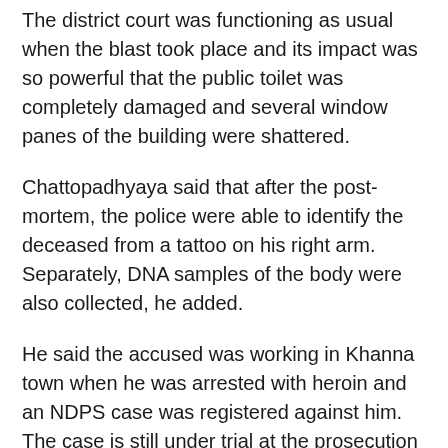The district court was functioning as usual when the blast took place and its impact was so powerful that the public toilet was completely damaged and several window panes of the building were shattered.
Chattopadhyaya said that after the post-mortem, the police were able to identify the deceased from a tattoo on his right arm. Separately, DNA samples of the body were also collected, he added.
He said the accused was working in Khanna town when he was arrested with heroin and an NDPS case was registered against him. The case is still under trial at the prosecution evidence stage, said the DGP.
He said after spending two years in a Ludhiana jail in connection with the case, Singh got out on bail in September and was supposed to appear in the court again on December